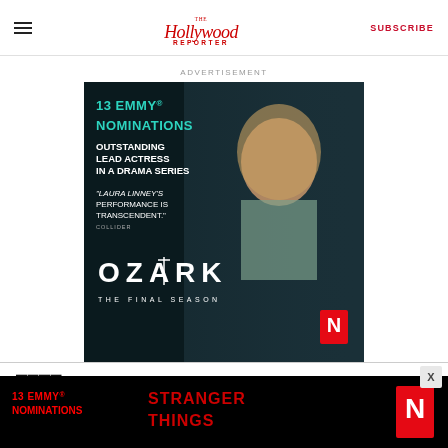The Hollywood Reporter — SUBSCRIBE
ADVERTISEMENT
[Figure (photo): Advertisement for Ozark The Final Season on Netflix. Features actress Laura Linney with text: 13 EMMY NOMINATIONS, OUTSTANDING LEAD ACTRESS IN A DRAMA SERIES, "LAURA LINNEY'S PERFORMANCE IS TRANSCENDENT." - COLLIDER, OZARK THE FINAL SEASON, Netflix logo.]
[Figure (photo): Bottom banner advertisement for Stranger Things on Netflix featuring text: 13 EMMY NOMINATIONS, STRANGER THINGS, and Netflix logo.]